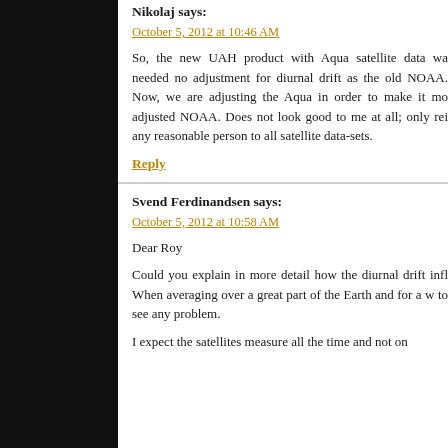Nikolaj says:
October 5, 2012 at 10:46 AM
So, the new UAH product with Aqua satellite data wa... needed no adjustment for diurnal drift as the old NOAA... Now, we are adjusting the Aqua in order to make it mo... adjusted NOAA. Does not look good to me at all; only rei... any reasonable person to all satellite data-sets.
Reply
Svend Ferdinandsen says:
October 5, 2012 at 10:58 AM
Dear Roy
Could you explain in more detail how the diurnal drift infl... When averaging over a great part of the Earth and for a w... to see any problem.
I expect the satellites measure all the time and not on...